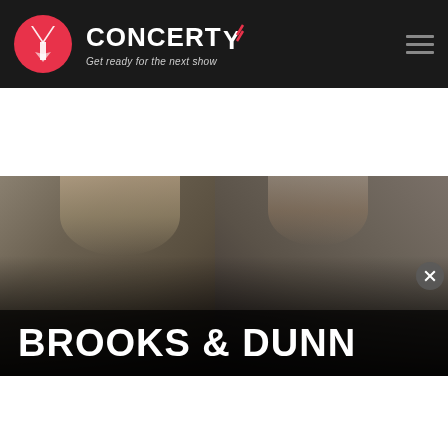[Figure (screenshot): Concerty website header with logo (Y icon in red circle), brand name CONCERTY with red slash, tagline 'Get ready for the next show', hamburger menu icon on dark background]
[Figure (photo): Brooks & Dunn artist photo showing two men in dark suits, with title overlay 'BROOKS & DUNN' in large white bold text on dark band]
BROOKS & DUNN
[Figure (photo): Lower section with smaller artist photo (person in leather jacket playing guitar), red tag with four squares icon, and black panel with close button]
[Figure (screenshot): Disney Bundle advertisement banner showing Hulu, Disney+, ESPN+ logos and 'GET THE DISNEY BUNDLE' call to action button, with fine print below]